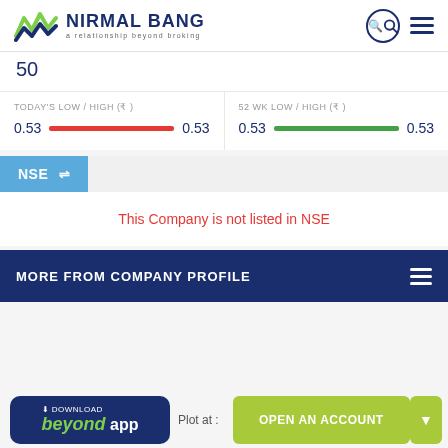[Figure (logo): Nirmal Bang logo with green/blue wave graphic and text 'NIRMAL BANG - a relationship beyond broking']
50
TODAY'S LOW / HIGH (₹)
0.53  0.53
52 WK LOW / HIGH (₹)
0.53  0.53
NSE ⇌
This Company is not listed in NSE
MORE FROM COMPANY PROFILE
[Figure (screenshot): Download Beyond App button (dark blue) and Open An Account button (green)]